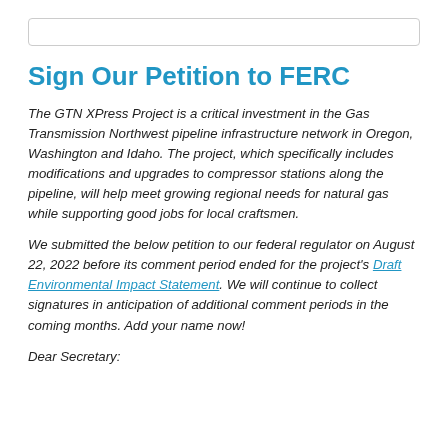[Figure (other): Search input bar at the top of the page]
Sign Our Petition to FERC
The GTN XPress Project is a critical investment in the Gas Transmission Northwest pipeline infrastructure network in Oregon, Washington and Idaho. The project, which specifically includes modifications and upgrades to compressor stations along the pipeline, will help meet growing regional needs for natural gas while supporting good jobs for local craftsmen.
We submitted the below petition to our federal regulator on August 22, 2022 before its comment period ended for the project's Draft Environmental Impact Statement. We will continue to collect signatures in anticipation of additional comment periods in the coming months. Add your name now!
Dear Secretary: